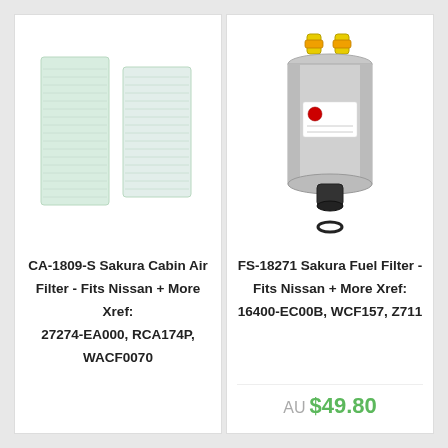[Figure (photo): Two rectangular cabin air filter panels, light greenish-white color, shown side by side]
CA-1809-S Sakura Cabin Air Filter - Fits Nissan + More Xref: 27274-EA000, RCA174P, WACF0070
[Figure (photo): Cylindrical metallic fuel filter with yellow top connectors and a small O-ring below]
FS-18271 Sakura Fuel Filter - Fits Nissan + More Xref: 16400-EC00B, WCF157, Z711
AU $49.80